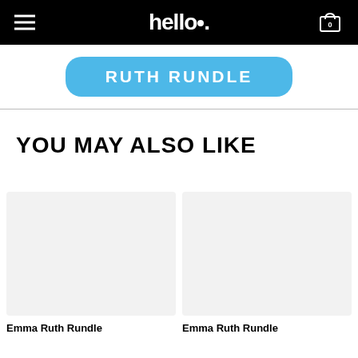hello. [navigation bar with hamburger menu, logo, and cart icon showing 0]
RUTH RUNDLE
YOU MAY ALSO LIKE
Emma Ruth Rundle
Emma Ruth Rundle